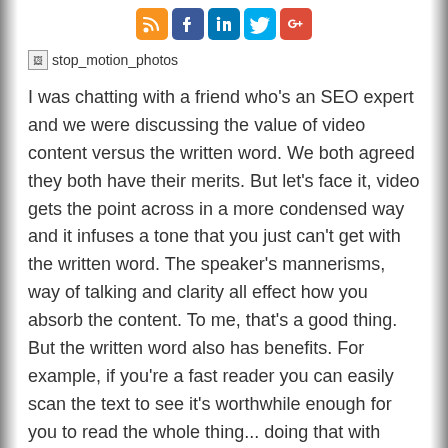[Figure (other): Row of social media icon buttons: RSS (orange), Facebook (blue), LinkedIn (blue), Twitter (light blue), Google+ (red)]
[Figure (other): Broken image placeholder with alt text 'stop_motion_photos']
I was chatting with a friend who's an SEO expert and we were discussing the value of video content versus the written word. We both agreed they both have their merits. But let's face it, video gets the point across in a more condensed way and it infuses a tone that you just can't get with the written word. The speaker's mannerisms, way of talking and clarity all effect how you absorb the content. To me, that's a good thing. But the written word also has benefits. For example, if you're a fast reader you can easily scan the text to see it's worthwhile enough for you to read the whole thing... doing that with video means waiting for the vid to download and hoping you can move the slider around with little technical difficulty. My